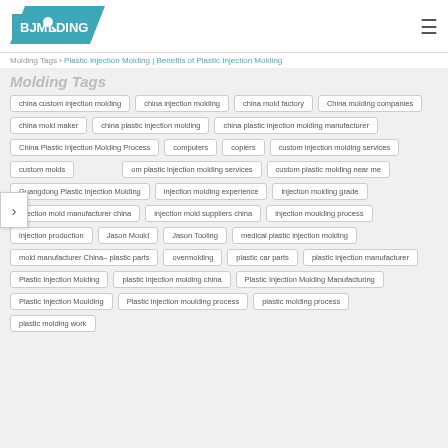BJMolding logo | navigation
Molding Tags
china custom injection molding | china injection molding | china mold factory | China molding companies | china mold maker | china plastic injection molding | china plastic injection molding manufacturer | China Plastic Injection Molding Process | computers | copiers | custom injection molding services | custom molds | custom plastic injection molding services | custom plastic molding near me | Guangdong Plastic Injection Molding | injection molding experience | injection molding grade | injection mold manufacturer china | injection mold suppliers china | injection moulding process | injection production | Jason Mould | Jason Tooling | medical plastic injection molding | mold manufacturer China– plastic parts | overmolding | plastic car parts | plastic injection manufacturer | Plastic Injection Molding | plastic injection molding china | Plastic Injection Molding Manufacturing | Plastic Injection Moulding | Plastic injection moulding process | plastic molding process | plastic molding work